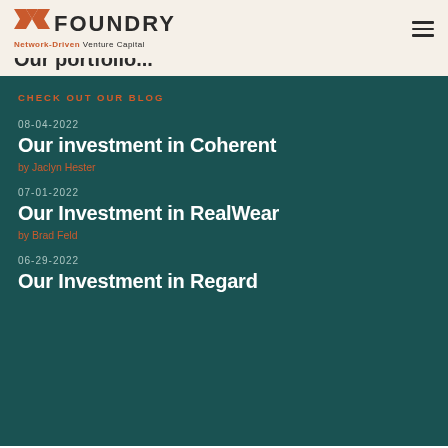FOUNDRY Network-Driven Venture Capital
CHECK OUT OUR BLOG
08-04-2022
Our investment in Coherent
by Jaclyn Hester
07-01-2022
Our Investment in RealWear
by Brad Feld
06-29-2022
Our Investment in Regard